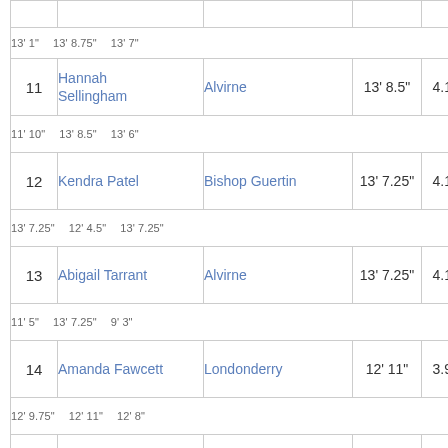| # | Name | School | Best | Metric |
| --- | --- | --- | --- | --- |
| 11 | Hannah Sellingham | Alvirne | 13' 8.5" | 4.17m |
| 12 | Kendra Patel | Bishop Guertin | 13' 7.25" | 4.14m |
| 13 | Abigail Tarrant | Alvirne | 13' 7.25" | 4.14m |
| 14 | Amanda Fawcett | Londonderry | 12' 11" | 3.93m |
| 15 | Alexis Marble | Alvirne | 12' 9.75" | 3.90m |
| 16 | Grace Brooks | Nashua North | 11' 4" | 3.45m |